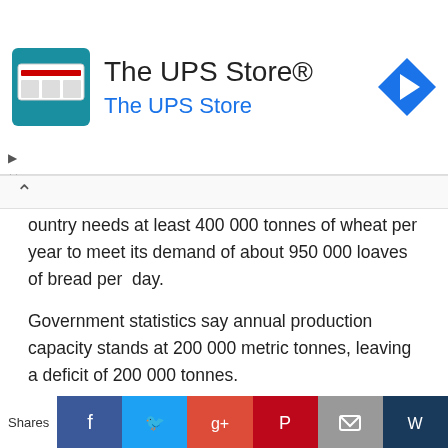[Figure (screenshot): The UPS Store advertisement banner with store icon and navigation arrow icon]
ountry needs at least 400 000 tonnes of wheat per year to meet its demand of about 950 000 loaves of bread per day.
Government statistics say annual production capacity stands at 200 000 metric tonnes, leaving a deficit of 200 000 tonnes.
Most African countries are net importers of wheat since the continent is not endowed with the right climate for its production.
Source : The Herald
[Figure (screenshot): Social media sharing bar with Facebook, Twitter, Google+, Pinterest, Email, and Bookmark icons, and a Shares label]